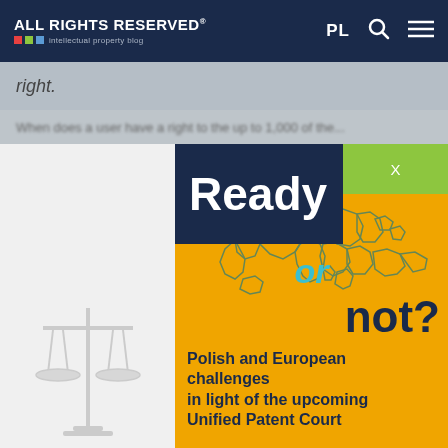ALL RIGHTS RESERVED® — intellectual property blog
right.
[Figure (infographic): Promotional infographic for a legal event about the Unified Patent Court. Orange background with outline map of Europe. Text reads: 'Ready or not? Polish and European challenges in light of the upcoming Unified Patent Court'. Dark navy blue box with 'Ready' in white bold text. 'or' in cyan italic. 'not?' in dark navy bold. Green X close button top right.]